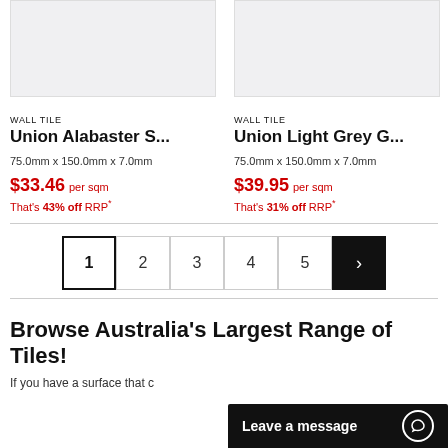[Figure (photo): Product image placeholder for Union Alabaster S... wall tile (light grey background)]
[Figure (photo): Product image placeholder for Union Light Grey G... wall tile (light grey background)]
WALL TILE
Union Alabaster S...
75.0mm x 150.0mm x 7.0mm
$33.46 per sqm
That's 43% off RRP*
WALL TILE
Union Light Grey G...
75.0mm x 150.0mm x 7.0mm
$39.95 per sqm
That's 31% off RRP*
1 2 3 4 5 >
Browse Australia's Largest Range of Tiles!
If you have a surface that c
Leave a message